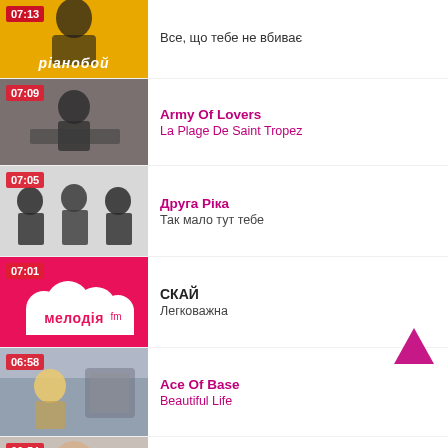Pianoboy — Все, що тебе не вбиває
07:09 — Army Of Lovers — La Plage De Saint Tropez
07:05 — Друга Ріка — Так мало тут тебе
07:01 — СКАЙ — Легковажна
06:58 — Ace Of Base — Beautiful Life
06:54 — Patricia Kaas — D'Allemagne